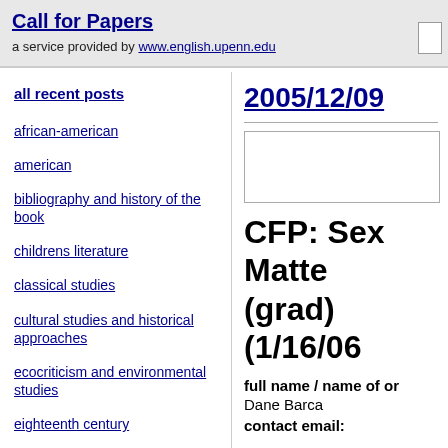Call for Papers
a service provided by www.english.upenn.edu
all recent posts
african-american
american
bibliography and history of the book
childrens literature
classical studies
cultural studies and historical approaches
ecocriticism and environmental studies
eighteenth century
2005/12/09
CFP: Sex Matte... (grad) (1/16/06...
full name / name of or...
Dane Barca
contact email: